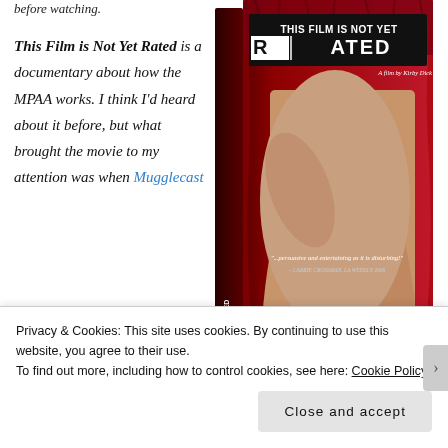before watching.
This Film is Not Yet Rated is a documentary about how the MPAA works. I think I'd heard about it before, but what brought the movie to my attention was when Mugglecast
[Figure (photo): DVD cover of 'This Film Is Not Yet Rated' by Kirby Dick, IFC Films. Red background with a person's legs/body partially censored by a black box. Taglines: '...persuasive and entertaining as it is disturbing!' and '...Terrific... Indispensable... Hilarious...']
This Film Is Not Yet Rated, IFC Films
Privacy & Cookies: This site uses cookies. By continuing to use this website, you agree to their use.
To find out more, including how to control cookies, see here: Cookie Policy
Close and accept